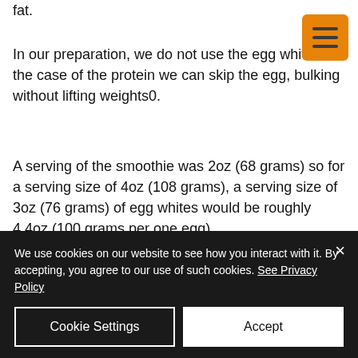fat.
In our preparation, we do not use the egg white. In the case of the protein we can skip the egg, bulking without lifting weights0.
A serving of the smoothie was 2oz (68 grams) so for a serving size of 4oz (108 grams), a serving size of 3oz (76 grams) of egg whites would be roughly 4.4oz (100 grams per one egg).
If you have time to cook this (assuming you are on a strict carb-restricted diet), I suggest you do your best to ensure you get at least 2
We use cookies on our website to see how you interact with it. By accepting, you agree to our use of such cookies. See Privacy Policy